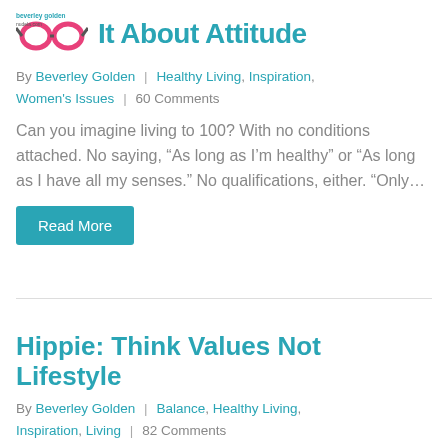[Figure (logo): Beverley Golden site logo with pink glasses icon and text 'beverley golden nudela.com']
It About Attitude
By Beverley Golden | Healthy Living, Inspiration, Women's Issues | 60 Comments
Can you imagine living to 100? With no conditions attached. No saying, “As long as I’m healthy” or “As long as I have all my senses.” No qualifications, either. “Only…
Read More
Hippie: Think Values Not Lifestyle
By Beverley Golden | Balance, Healthy Living, Inspiration, Living | 82 Comments
Since the release of my book, Confessions of